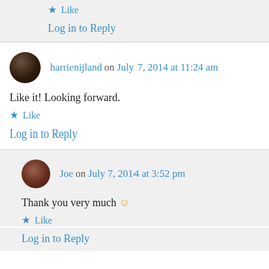★ Like
Log in to Reply
harrienijland on July 7, 2014 at 11:24 am
Like it! Looking forward.
★ Like
Log in to Reply
Joe on July 7, 2014 at 3:52 pm
Thank you very much 🙂
★ Like
Log in to Reply